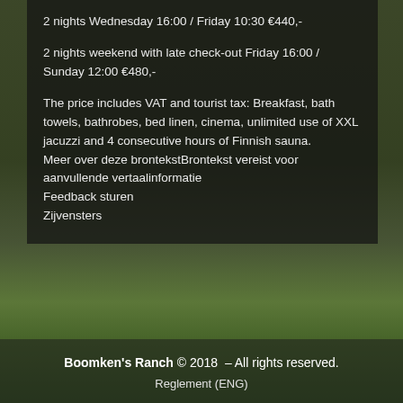[Figure (photo): Exterior photo of Boomken's Ranch building with trees and lawn, dark overlay panel with text on top]
2 nights Wednesday 16:00 / Friday 10:30 €440,-
2 nights weekend with late check-out Friday 16:00 / Sunday 12:00 €480,-
The price includes VAT and tourist tax: Breakfast, bath towels, bathrobes, bed linen, cinema, unlimited use of XXL jacuzzi and 4 consecutive hours of Finnish sauna. Meer over deze brontekstBrontekst vereist voor aanvullende vertaalinformatie
Feedback sturen
Zijvensters
Boomken's Ranch © 2018 – All rights reserved.
Reglement (ENG)